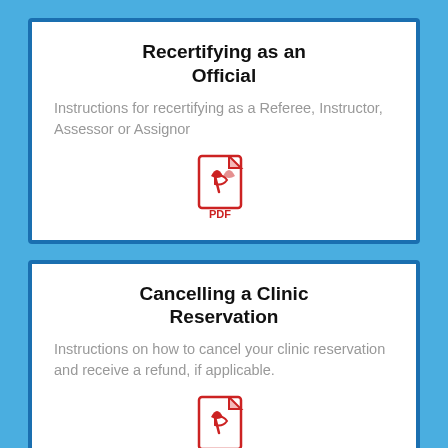Recertifying as an Official
Instructions for recertifying as a Referee, Instructor, Assessor or Assignor
[Figure (illustration): Red PDF file icon with Adobe-style symbol and 'PDF' label below]
Cancelling a Clinic Reservation
Instructions on how to cancel your clinic reservation and receive a refund, if applicable.
[Figure (illustration): Red PDF file icon with Adobe-style symbol and 'PDF' label below]